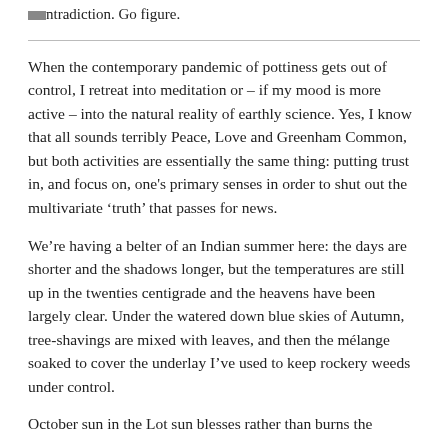ntradiction. Go figure.
When the contemporary pandemic of pottiness gets out of control, I retreat into meditation or – if my mood is more active – into the natural reality of earthly science. Yes, I know that all sounds terribly Peace, Love and Greenham Common, but both activities are essentially the same thing: putting trust in, and focus on, one's primary senses in order to shut out the multivariate 'truth' that passes for news.
We're having a belter of an Indian summer here: the days are shorter and the shadows longer, but the temperatures are still up in the twenties centigrade and the heavens have been largely clear. Under the watered down blue skies of Autumn, tree-shavings are mixed with leaves, and then the mélange soaked to cover the underlay I've used to keep rockery weeds under control.
October sun in the Lot sun blesses rather than burns the